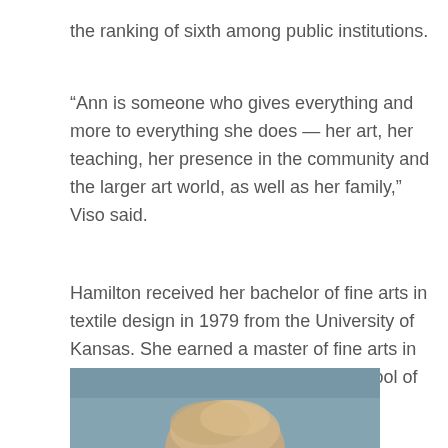the ranking of sixth among public institutions.
“Ann is someone who gives everything and more to everything she does — her art, her teaching, her presence in the community and the larger art world, as well as her family,” Viso said.
Hamilton received her bachelor of fine arts in textile design in 1979 from the University of Kansas. She earned a master of fine arts in sculpture from the Yale University School of Art in 1985.
[Figure (photo): A close-up photograph of a person, showing the top portion of their head with light/blonde hair against a blurred background.]